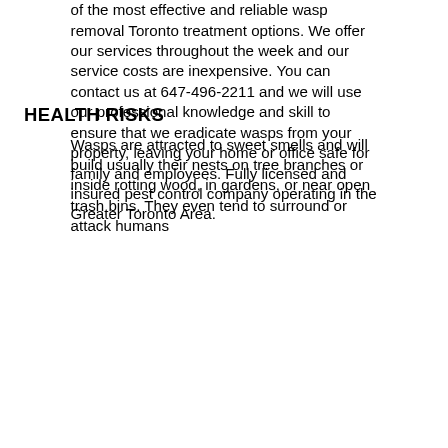of the most effective and reliable wasp removal Toronto treatment options. We offer our services throughout the week and our service costs are inexpensive. You can contact us at 647-496-2211 and we will use our professional knowledge and skill to ensure that we eradicate wasps from your property, leaving your home or office safe for family and employees. Fully licensed and insured pest control company operating in the Greater Toronto Area.
HEALTH RISKS
Wasps are attracted to sweet smells and will build usually their nests on tree branches or inside rotting wood, in gardens, or near open trash bins. They even tend to surround or attack humans